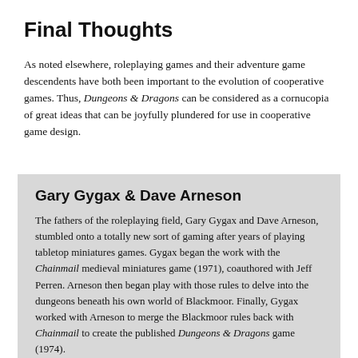Final Thoughts
As noted elsewhere, roleplaying games and their adventure game descendents have both been important to the evolution of cooperative games. Thus, Dungeons & Dragons can be considered as a cornucopia of great ideas that can be joyfully plundered for use in cooperative game design.
Gary Gygax & Dave Arneson
The fathers of the roleplaying field, Gary Gygax and Dave Arneson, stumbled onto a totally new sort of gaming after years of playing tabletop miniatures games. Gygax began the work with the Chainmail medieval miniatures game (1971), coauthored with Jeff Perren. Arneson then began play with those rules to delve into the dungeons beneath his own world of Blackmoor. Finally, Gygax worked with Arneson to merge the Blackmoor rules back with Chainmail to create the published Dungeons & Dragons game (1974).